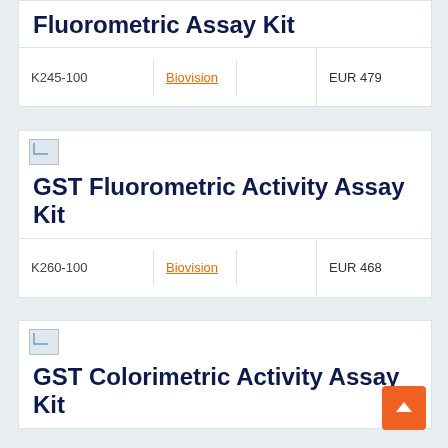Fluorometric Assay Kit
| Code | Brand |  | Price |
| --- | --- | --- | --- |
| K245-100 | Biovision |  | EUR 479 |
[Figure (photo): Product image placeholder for GST Fluorometric Activity Assay Kit]
GST Fluorometric Activity Assay Kit
| Code | Brand |  | Price |
| --- | --- | --- | --- |
| K260-100 | Biovision |  | EUR 468 |
[Figure (photo): Product image placeholder for GST Colorimetric Activity Assay Kit]
GST Colorimetric Activity Assay Kit